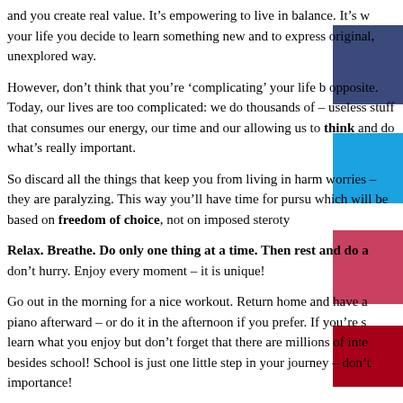and you create real value. It’s empowering to live in balance. It’s w your life you decide to learn something new and to express original, unexplored way.
However, don’t think that you’re ‘complicating’ your life b opposite. Today, our lives are too complicated: we do thousands of – useless stuff that consumes our energy, our time and our allowing us to think and do what’s really important.
So discard all the things that keep you from living in harm worries – they are paralyzing. This way you’ll have time for pursu which will be based on freedom of choice, not on imposed steroty
Relax. Breathe. Do only one thing at a time. Then rest and do a don’t hurry. Enjoy every moment – it is unique!
Go out in the morning for a nice workout. Return home and have a piano afterward – or do it in the afternoon if you prefer. If you’re s learn what you enjoy but don’t forget that there are millions of inte besides school! School is just one little step in your journey – don’t importance!